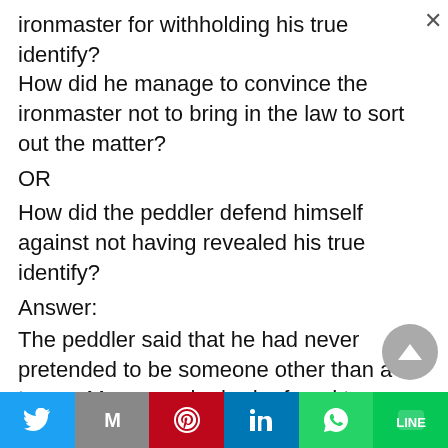ironmaster for withholding his true identify? How did he manage to convince the ironmaster not to bring in the law to sort out the matter?
OR
How did the peddler defend himself against not having revealed his true identify?
Answer:
The peddler said that he had never pretended to be someone other than a tramp. Moreover, he had refused to come to
[Figure (other): Social sharing bar at the bottom with Twitter, Gmail, Pinterest, LinkedIn, WhatsApp, and LINE buttons]